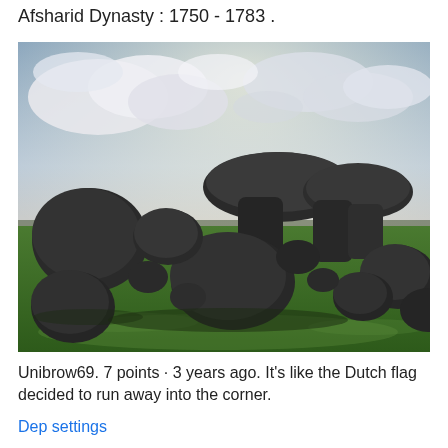Afsharid Dynasty : 1750 - 1783 .
[Figure (photo): Photograph of large ancient boulders and megalithic stones arranged on green grass under a dramatic cloudy sky with sunbeams. The stones form a dolmen-like structure in a flat landscape.]
Unibrow69. 7 points · 3 years ago. It's like the Dutch flag decided to run away into the corner.
Dep settings